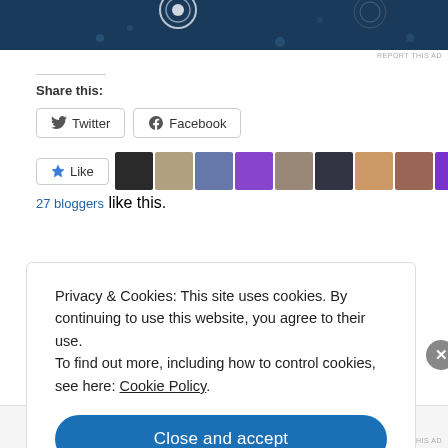[Figure (screenshot): Top banner advertisement area with dark blue background]
REPORT THIS AD
Share this:
[Figure (screenshot): Twitter share button]
[Figure (screenshot): Facebook share button]
[Figure (screenshot): Like button with star icon and 12 blogger avatar thumbnails]
27 bloggers like this.
Privacy & Cookies: This site uses cookies. By continuing to use this website, you agree to their use. To find out more, including how to control cookies, see here: Cookie Policy
Close and accept